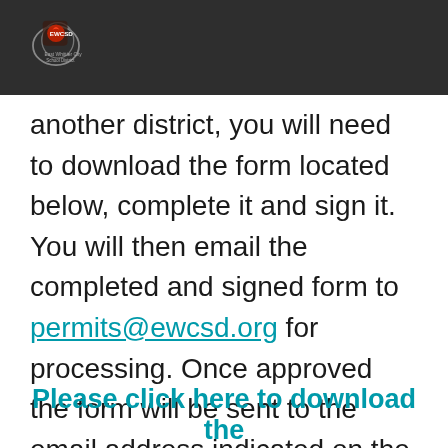EWCSD logo
another district, you will need to download the form located below, complete it and sign it. You will then email the completed and signed form to permits@ewcsd.org for processing. Once approved the form will be sent to the email address indicated on the form. Please allow 5-7 days to process.
Please click here to download the